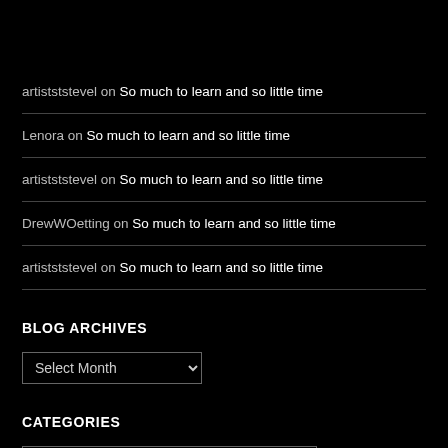artistststevel on So much to learn and so little time
Lenora on So much to learn and so little time
artistststevel on So much to learn and so little time
DrewWOetting on So much to learn and so little time
artistststevel on So much to learn and so little time
BLOG ARCHIVES
Select Month
CATEGORIES
Select Category